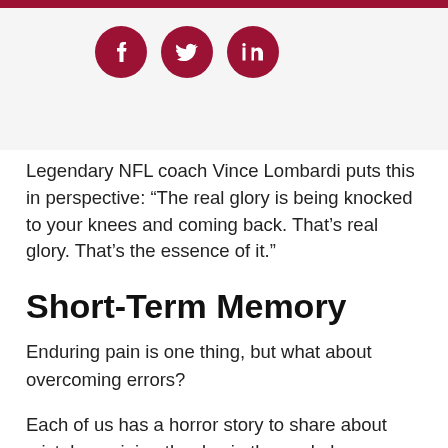[Figure (other): Social media share icons: Facebook (f), Twitter (bird), LinkedIn (in) — dark red circles on light grey background]
Legendary NFL coach Vince Lombardi puts this in perspective: “The real glory is being knocked to your knees and coming back. That’s real glory. That’s the essence of it.”
Short-Term Memory
Enduring pain is one thing, but what about overcoming errors?
Each of us has a horror story to share about mistakes ruining the day in the workplace. These are